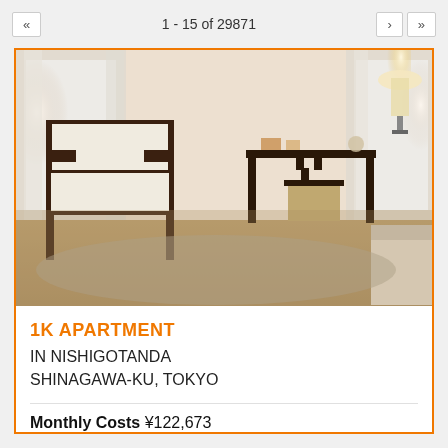« 1 - 15 of 29871 › »
[Figure (photo): Interior room photo showing a furnished apartment with a white armchair with dark wooden frame, a dark wooden desk with a chair, and a bed partially visible on the right. Natural light comes from windows with sheer curtains.]
1K APARTMENT
IN NISHIGOTANDA
SHINAGAWA-KU, TOKYO
Monthly Costs ¥122,673